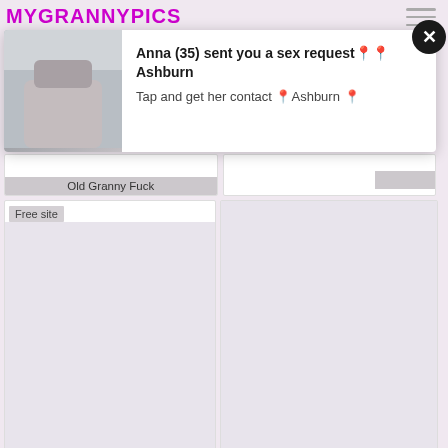MYGRANNYPICS
[Figure (screenshot): Popup notification with image of a person from behind, text: Anna (35) sent you a sex request  Ashburn. Tap and get her contact  Ashburn . Close button (X) in top right.]
Old Granny Fuck
Free site
[Figure (photo): Thumbnail placeholder image (light purple/grey)]
Old Granny Pussy
Free site
[Figure (photo): Thumbnail placeholder image (light purple/grey)]
Mom Porn
Free site